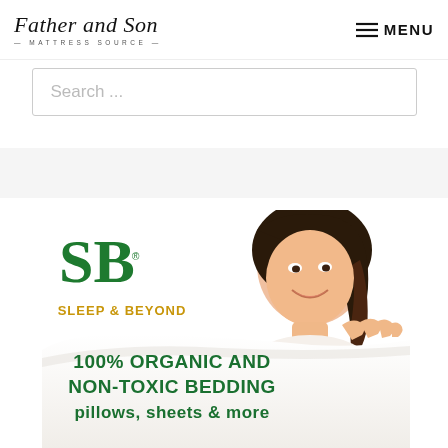Father and Son MATTRESS SOURCE | MENU
Search ...
[Figure (illustration): Sleep & Beyond advertisement banner showing a smiling woman resting on a white pillow, with SB green logo, SLEEP & BEYOND in gold text, and green text reading '100% ORGANIC AND NON-TOXIC BEDDING pillows, sheets & more']